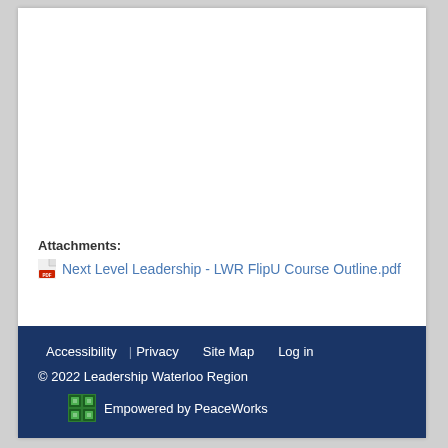Attachments:
Next Level Leadership - LWR FlipU Course Outline.pdf
Accessibility   Privacy   Site Map   Log in
© 2022 Leadership Waterloo Region
Empowered by PeaceWorks